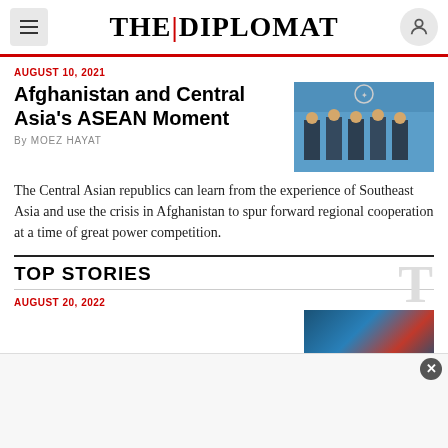THE|DIPLOMAT
AUGUST 10, 2021
Afghanistan and Central Asia's ASEAN Moment
By MOEZ HAYAT
[Figure (photo): Group of officials in suits standing in front of a blue backdrop with an official emblem]
The Central Asian republics can learn from the experience of Southeast Asia and use the crisis in Afghanistan to spur forward regional cooperation at a time of great power competition.
TOP STORIES
AUGUST 20, 2022
[Figure (photo): News article thumbnail image with blue and red tones]